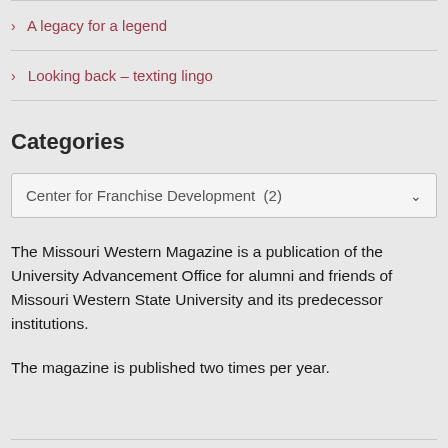> A legacy for a legend
> Looking back – texting lingo
Categories
Center for Franchise Development  (2)
The Missouri Western Magazine is a publication of the University Advancement Office for alumni and friends of Missouri Western State University and its predecessor institutions.

The magazine is published two times per year.